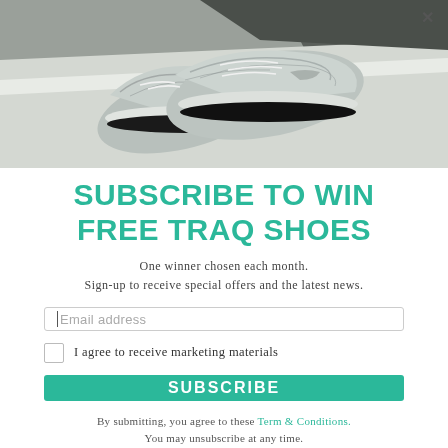[Figure (photo): Gray/white running sneakers placed on a white concrete curb with dark asphalt in the background. Shoes appear to be lightweight athletic trainers.]
SUBSCRIBE TO WIN FREE TRAQ SHOES
One winner chosen each month.
Sign-up to receive special offers and the latest news.
Email address
I agree to receive marketing materials
SUBSCRIBE
By submitting, you agree to these Term & Conditions.
You may unsubscribe at any time.